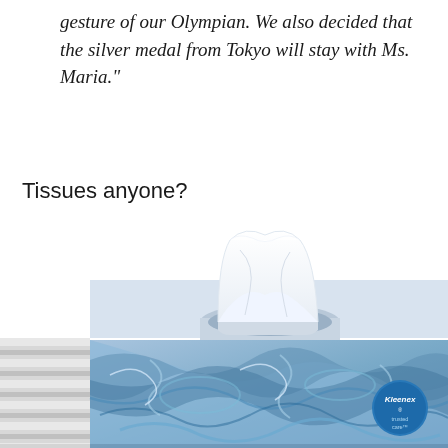gesture of our Olympian. We also decided that the silver medal from Tokyo will stay with Ms. Maria."
Tissues anyone?
[Figure (photo): A Kleenex tissue box with blue marbled swirl pattern design, with a white tissue pulled out from the top center opening. The box has horizontal grey and white stripes on the left side. A blue circular Kleenex logo badge is visible on the front lower right, with 'trusted care' text beneath the logo.]